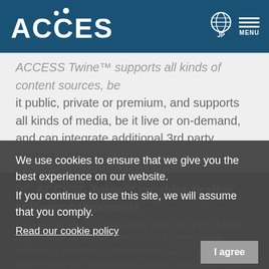ACCESS [logo with globe icon and MENU]
ACCESS Twine™ supports all kinds of content sources, be it public, private or premium, and supports all kinds of media, be it live or on-demand, and can integrate additional 3rd party content portfolios.
05  ACCESS Twine™ provides flexible software components
/ you can deploy the components either as device based and as cloud based components. The device based software is available for set-top boxes (STB), digital TVs, home gateways, smartphones, tablets, network attached storage boxes, personal computers and more, while the cloud
We use cookies to ensure that we give you the best experience on our website.
If you continue to use this site, we will assume that you comply.
Read our cookie policy
I agree